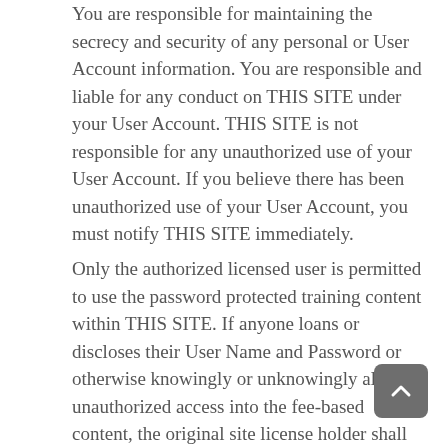You are responsible for maintaining the secrecy and security of any personal or User Account information. You are responsible and liable for any conduct on THIS SITE under your User Account. THIS SITE is not responsible for any unauthorized use of your User Account. If you believe there has been unauthorized use of your User Account, you must notify THIS SITE immediately.
Only the authorized licensed user is permitted to use the password protected training content within THIS SITE. If anyone loans or discloses their User Name and Password or otherwise knowingly or unknowingly allows unauthorized access into the fee-based content, the original site license holder shall be responsible for and will be billed a full month's fee for each month an unauthorized user logs into THIS SITE.